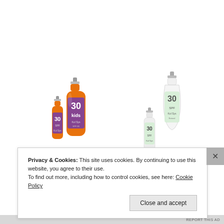[Figure (photo): Product photo showing sunscreen spray bottles. On the left: two orange-colored SPF 30 Kids sunscreen spray bottles of different sizes. On the right: two white-colored SPF 30 sunscreen spray bottles of different sizes. All bottles show 'Kul Sys' or similar branding.]
Privacy & Cookies: This site uses cookies. By continuing to use this website, you agree to their use.
To find out more, including how to control cookies, see here: Cookie Policy
Close and accept